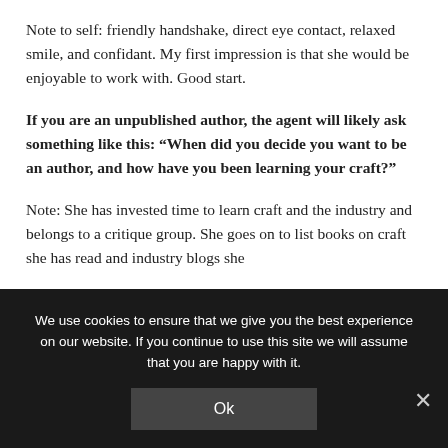Note to self: friendly handshake, direct eye contact, relaxed smile, and confidant. My first impression is that she would be enjoyable to work with. Good start.
If you are an unpublished author, the agent will likely ask something like this: “When did you decide you want to be an author, and how have you been learning your craft?”
Note: She has invested time to learn craft and the industry and belongs to a critique group. She goes on to list books on craft she has read and industry blogs she
We use cookies to ensure that we give you the best experience on our website. If you continue to use this site we will assume that you are happy with it.